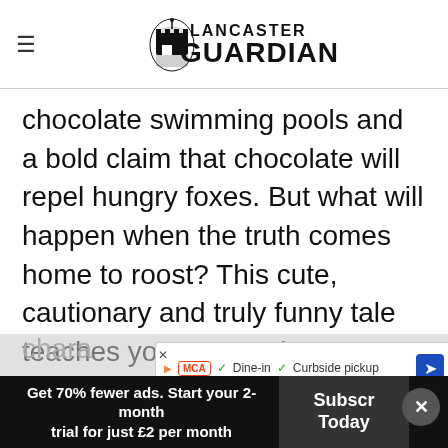Lancaster Guardian
chocolate swimming pools and a bold claim that chocolate will repel hungry foxes. But what will happen when the truth comes home to roost? This cute, cautionary and truly funny tale teaches youngsters the importance of honesty, fairness, ambition and responsibility as well offering a riotous romp packed with a delicious mix of comic capers, tasty gags, adorable characters, giggles and gregarious artwork...
[Figure (screenshot): Advertisement banner overlay: McA logo, Dine-in, Curbside pickup, navigation arrow icon]
Get 70% fewer ads. Start your 2-month trial for just £2 per month
Subscribe Today